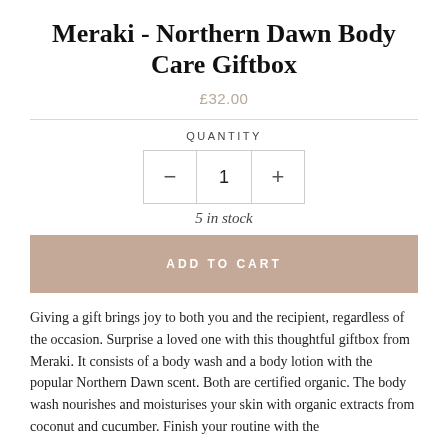Meraki - Northern Dawn Body Care Giftbox
£32.00
QUANTITY
5 in stock
ADD TO CART
Giving a gift brings joy to both you and the recipient, regardless of the occasion. Surprise a loved one with this thoughtful giftbox from Meraki. It consists of a body wash and a body lotion with the popular Northern Dawn scent. Both are certified organic. The body wash nourishes and moisturises your skin with organic extracts from coconut and cucumber. Finish your routine with the